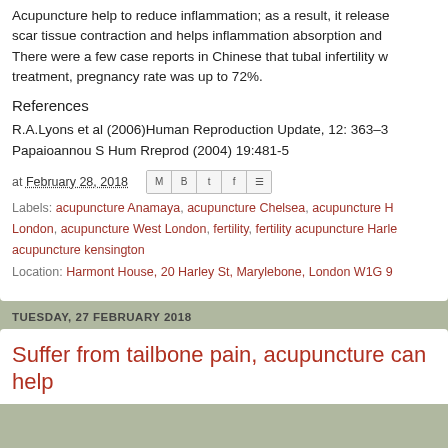Acupuncture help to reduce inflammation; as a result, it releases scar tissue contraction and helps inflammation absorption and... There were a few case reports in Chinese that tubal infertility w... treatment, pregnancy rate was up to 72%.
References
R.A.Lyons et al (2006)Human Reproduction Update, 12: 363–3... Papaioannou S Hum Rreprod (2004) 19:481-5
at February 28, 2018
Labels: acupuncture Anamaya, acupuncture Chelsea, acupuncture H... London, acupuncture West London, fertility, fertility acupuncture Harle... acupuncture kensington
Location: Harmont House, 20 Harley St, Marylebone, London W1G 9
TUESDAY, 27 FEBRUARY 2018
Suffer from tailbone pain, acupuncture can help